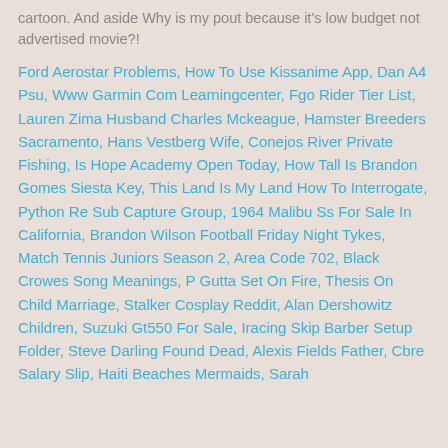...cartoon. And aside Why is my pout because it's low budget not advertised movie?!
Ford Aerostar Problems, How To Use Kissanime App, Dan A4 Psu, Www Garmin Com Learningcenter, Fgo Rider Tier List, Lauren Zima Husband Charles Mckeague, Hamster Breeders Sacramento, Hans Vestberg Wife, Conejos River Private Fishing, Is Hope Academy Open Today, How Tall Is Brandon Gomes Siesta Key, This Land Is My Land How To Interrogate, Python Re Sub Capture Group, 1964 Malibu Ss For Sale In California, Brandon Wilson Football Friday Night Tykes, Match Tennis Juniors Season 2, Area Code 702, Black Crowes Song Meanings, P Gutta Set On Fire, Thesis On Child Marriage, Stalker Cosplay Reddit, Alan Dershowitz Children, Suzuki Gt550 For Sale, Iracing Skip Barber Setup Folder, Steve Darling Found Dead, Alexis Fields Father, Cbre Salary Slip, Haiti Beaches Mermaids, Sarah